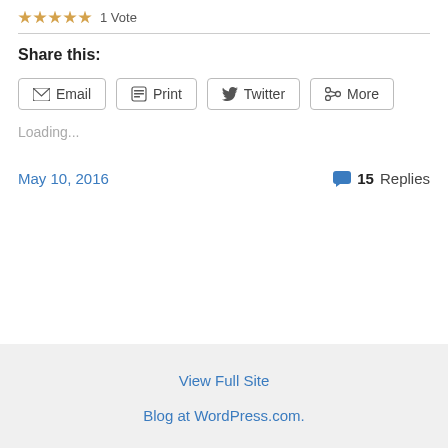1 Vote
Share this:
[Figure (other): Share buttons: Email, Print, Twitter, More]
Loading...
May 10, 2016
15 Replies
View Full Site
Blog at WordPress.com.